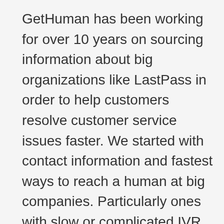GetHuman has been working for over 10 years on sourcing information about big organizations like LastPass in order to help customers resolve customer service issues faster. We started with contact information and fastest ways to reach a human at big companies. Particularly ones with slow or complicated IVR or phone menu systems. Or companies that have self-serve help forums instead of a customer service department. From there, we realized that consumers still needed more detailed help solving the most common problems, so we expanded to this set of guides, which grows every day. And if you spot any issues with our Should I Be Using a Password Protector? guide, please let us know by sending us feedback. We want to be as helpful as possible. If you appreciated this guide, then please tell your friends about it on a few of your...